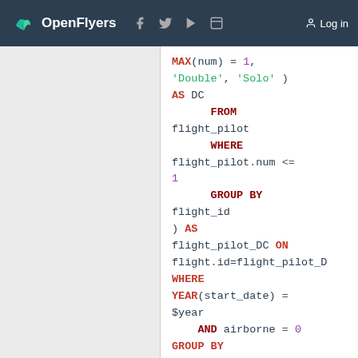OpenFlyers | Log in
MAX(num) = 1,
'Double', 'Solo' )
AS DC
    FROM
flight_pilot
    WHERE
flight_pilot.num <=
1
    GROUP BY
flight_id
) AS
flight_pilot_DC ON
flight.id=flight_pilot_D
WHERE
YEAR(start_date) =
$year
    AND airborne = 0
GROUP BY
activity_type.id,
flight_pilot_DC.DC
HAVING (Name <>
'Instruction' OR
flight_pilot_DC.DC
<> 'Double')
ORDER BY order_num
ASC, DC DESC